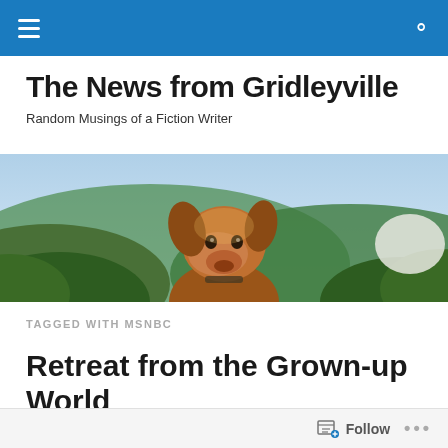Navigation bar with menu and search icons
The News from Gridleyville
Random Musings of a Fiction Writer
[Figure (photo): A dog (brown/tan) photographed outdoors with green forested hills in the background, viewed from a low angle.]
TAGGED WITH MSNBC
Retreat from the Grown-up World
Follow  •••